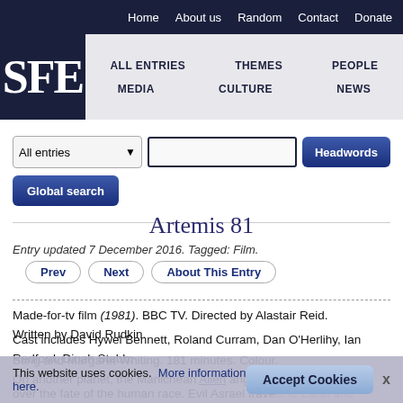SFE | Home | About us | Random | Contact | Donate | ALL ENTRIES | THEMES | PEOPLE | MEDIA | CULTURE | NEWS
Artemis 81
Entry updated 7 December 2016. Tagged: Film.
Prev
Next
About This Entry
Made-for-tv film (1981). BBC TV. Directed by Alastair Reid. Written by David Rudkin. Cast includes Hywel Bennett, Roland Curram, Dan O'Herlihy, Ian Redford, Dinah Stabb, Sting and Margaret Whiting. 181 minutes. Colour.
On another planet, the Manichean Alien angels Asrael (… ing) vie over the fate of the human race. Evil Asrael travels to Earth and makes the cursed
This website uses cookies. More information here.